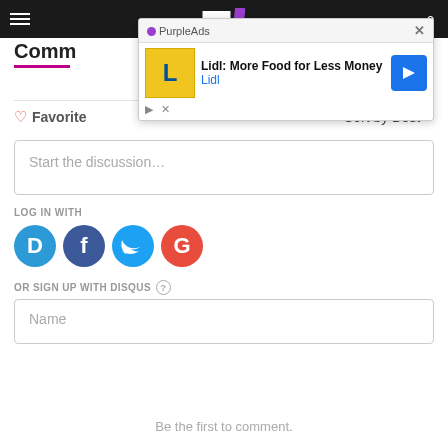[Figure (screenshot): Navigation bar with hamburger menu, logo, and search icon on dark background]
[Figure (screenshot): PurpleAds advertisement popup showing Lidl: More Food for Less Money ad with Lidl branding and navigation arrow]
Comm...
Login
Favorite
Sort by Best
Start the discussion...
LOG IN WITH
[Figure (logo): Social login icons: Disqus (blue D), Facebook (dark blue f), Twitter (light blue bird), Google (red G)]
OR SIGN UP WITH DISQUS
Name
Be the first to comment.